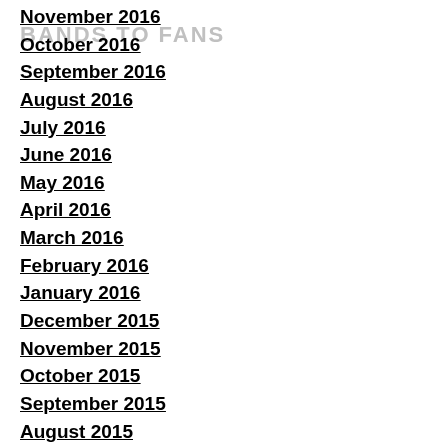November 2016
October 2016
September 2016
August 2016
July 2016
June 2016
May 2016
April 2016
March 2016
February 2016
January 2016
December 2015
November 2015
October 2015
September 2015
August 2015
July 2015
June 2015